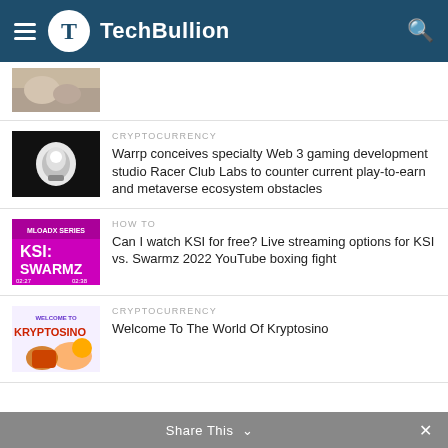TechBullion
[Figure (photo): Partial thumbnail of article at top, cropped]
CRYPTOCURRENCY
Warrp conceives specialty Web 3 gaming development studio Racer Club Labs to counter current play-to-earn and metaverse ecosystem obstacles
HOW TO
Can I watch KSI for free? Live streaming options for KSI vs. Swarmz 2022 YouTube boxing fight
CRYPTOCURRENCY
Welcome To The World Of Kryptosino
Share This ∨  ×